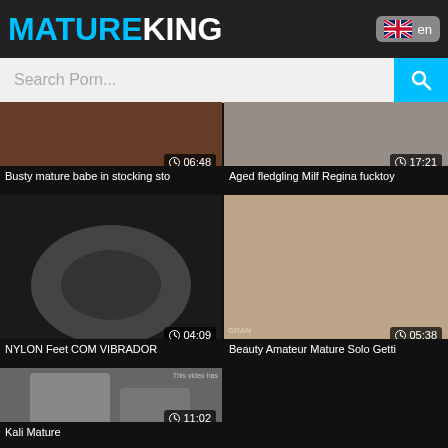MATUREKING
Search Porn...
06:48 Busty mature babe in stocking sto
17:21 Aged fledgling Milf Regina fucktoy
04:09 NYLON Feet COM VIBRADOR
05:38 Beauty Amateur Mature Solo Getti
11:02 Kali Mature